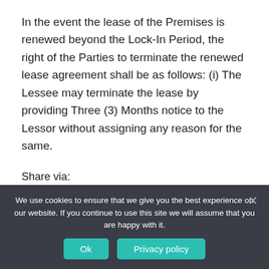In the event the lease of the Premises is renewed beyond the Lock-In Period, the right of the Parties to terminate the renewed lease agreement shall be as follows: (i) The Lessee may terminate the lease by providing Three (3) Months notice to the Lessor without assigning any reason for the same.
Share via:
[Figure (infographic): Row of 8 social sharing icon buttons: Facebook (blue), Twitter (blue), Reddit (orange-red), Email/Mail (blue), Messenger (blue), WhatsApp (green), Telegram (light blue), Share/More (blue)]
Share
We use cookies to ensure that we give you the best experience on our website. If you continue to use this site we will assume that you are happy with it.